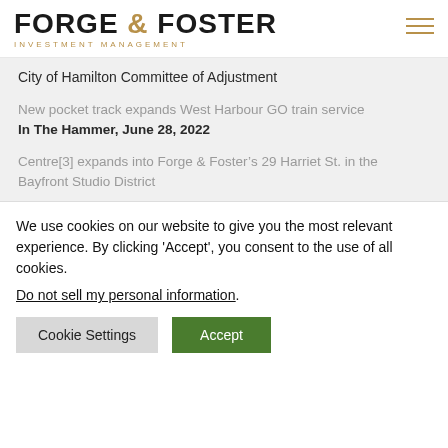FORGE & FOSTER INVESTMENT MANAGEMENT
City of Hamilton Committee of Adjustment
New pocket track expands West Harbour GO train service
In The Hammer, June 28, 2022
Centre[3] expands into Forge & Foster's 29 Harriet St. in the Bayfront Studio District
We use cookies on our website to give you the most relevant experience. By clicking 'Accept', you consent to the use of all cookies.
Do not sell my personal information.